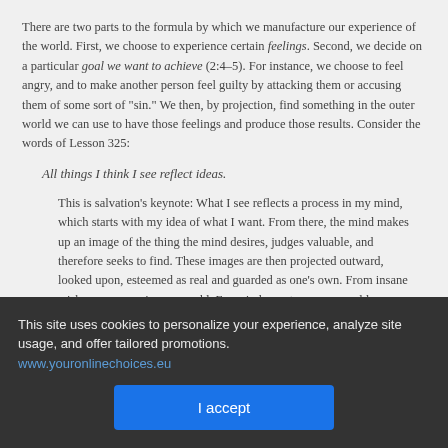There are two parts to the formula by which we manufacture our experience of the world. First, we choose to experience certain feelings. Second, we decide on a particular goal we want to achieve (2:4–5). For instance, we choose to feel angry, and to make another person feel guilty by attacking them or accusing them of some sort of "sin." We then, by projection, find something in the outer world we can use to have those feelings and produce those results. Consider the words of Lesson 325:
All things I think I see reflect ideas.
This is salvation's keynote: What I see reflects a process in my mind, which starts with my idea of what I want. From there, the mind makes up an image of the thing the mind desires, judges valuable, and therefore seeks to find. These images are then projected outward, looked upon, esteemed as real and guarded as one's own. From insane wishes comes an insane world. From judgment comes a world condemned. And from forgiving thoughts a gentle world comes forth, with mercy for the holy Son of God, to offer him a kindly home where he can rest a while before he journeys on, and help his brothers walk ahead with him, and find the way to Heaven and to God.
Our Father, Your ideas reflect the truth, and mine apart from Yours but make up dreams. Let me behold what only Yours reflect, for Yours and Yours alone establish truth.
(W-pII.325.2:1–2)
This site uses cookies to personalize your experience, analyze site usage, and offer tailored promotions. www.youronlinechoices.eu